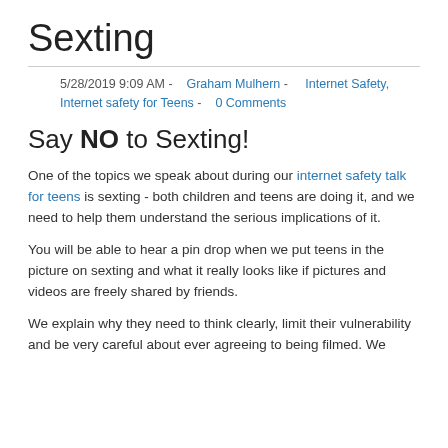Sexting
5/28/2019 9:09 AM - Graham Mulhern - Internet Safety, Internet safety for Teens - 0 Comments
Say NO to Sexting!
One of the topics we speak about during our internet safety talk for teens is sexting - both children and teens are doing it, and we need to help them understand the serious implications of it.
You will be able to hear a pin drop when we put teens in the picture on sexting and what it really looks like if pictures and videos are freely shared by friends.
We explain why they need to think clearly, limit their vulnerability and be very careful about ever agreeing to being filmed. We